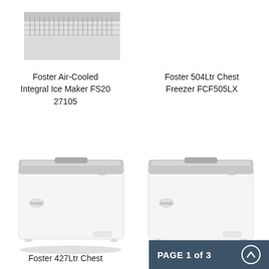[Figure (photo): Foster Air-Cooled Integral Ice Maker FS20 27105 - partial top view of the unit]
Foster Air-Cooled
Integral Ice Maker FS20
27105
Foster 504Ltr Chest
Freezer FCF505LX
[Figure (photo): Foster chest freezer - white rectangular chest freezer with stainless steel lid and handle]
[Figure (photo): Foster chest freezer - white rectangular chest freezer with stainless steel lid and handle]
Foster 427Ltr Chest
Foster 42Ltr Chest
PAGE 1 of 3